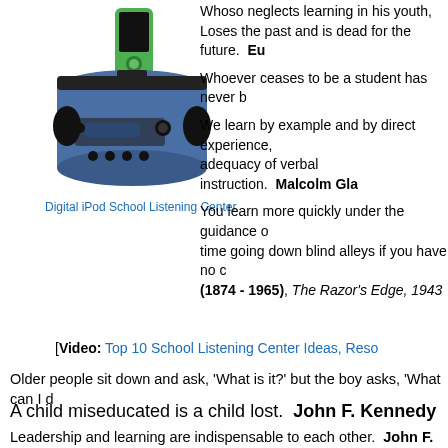[Figure (photo): Digital iPod School Listening Center device with green iPod nano docked on top of a blue cylindrical speaker/dock unit]
Digital iPod School Listening Center
Whoso neglects learning in his youth, Loses the past and is dead for the future.  Eu
Whoever ceases to be a student has never b
We learn by example and by direct experience, adequacy of verbal instruction.  Malcolm Gla
You learn more quickly under the guidance o time going down blind alleys if you have no c (1874 - 1965), The Razor's Edge, 1943
[Video: Top 10 School Listening Center Ideas, Reso
Older people sit down and ask, 'What is it?' but the boy asks, 'What can I d
A child miseducated is a child lost.  John F. Kennedy
Leadership and learning are indispensable to each other.  John F. Kenned
Man is still the most extraordinary computer of all.  John F. Kennedy